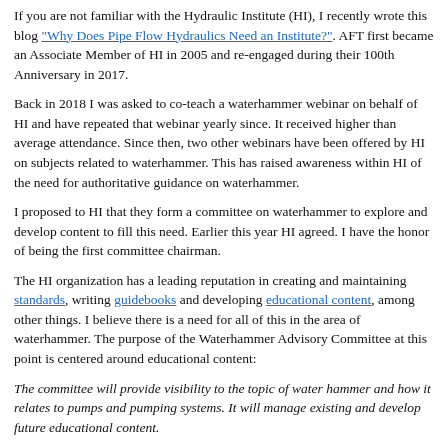If you are not familiar with the Hydraulic Institute (HI), I recently wrote this blog "Why Does Pipe Flow Hydraulics Need an Institute?". AFT first became an Associate Member of HI in 2005 and re-engaged during their 100th Anniversary in 2017.
Back in 2018 I was asked to co-teach a waterhammer webinar on behalf of HI and have repeated that webinar yearly since. It received higher than average attendance. Since then, two other webinars have been offered by HI on subjects related to waterhammer. This has raised awareness within HI of the need for authoritative guidance on waterhammer.
I proposed to HI that they form a committee on waterhammer to explore and develop content to fill this need. Earlier this year HI agreed. I have the honor of being the first committee chairman.
The HI organization has a leading reputation in creating and maintaining standards, writing guidebooks and developing educational content, among other things. I believe there is a need for all of this in the area of waterhammer. The purpose of the Waterhammer Advisory Committee at this point is centered around educational content:
The committee will provide visibility to the topic of water hammer and how it relates to pumps and pumping systems. It will manage existing and develop future educational content.